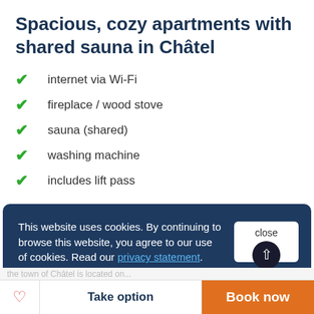Spacious, cozy apartments with shared sauna in Châtel
internet via Wi-Fi
fireplace / wood stove
sauna (shared)
washing machine
includes lift pass
General description
This website uses cookies. By continuing to browse this website, you agree to our use of cookies. Read our privacy statement.
Take option
Book now